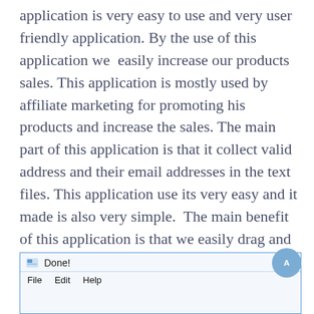application is very easy to use and very user friendly application. By the use of this application we easily increase our products sales. This application is mostly used by affiliate marketing for promoting his products and increase the sales. The main part of this application is that it collect valid address and their email addresses in the text files. This application use its very easy and it made is also very simple. The main benefit of this application is that we easily drag and drop of this emails. Once the emails extracting then it will scanning the emails very fast.
[Figure (screenshot): A Windows application window showing a toolbar with 'Done!' label, and a menu bar with File, Edit, Help options. A circular blue FAB button with an 'A' icon is visible on the right side.]